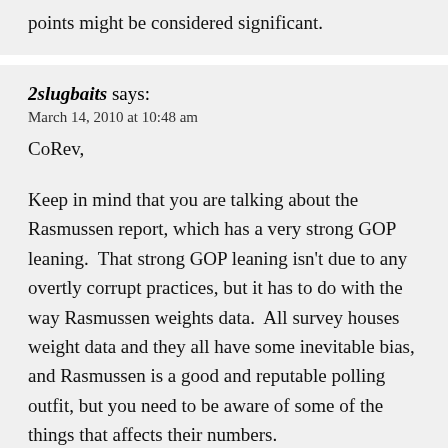points might be considered significant.
2slugbaits says:
March 14, 2010 at 10:48 am
CoRev,

Keep in mind that you are talking about the Rasmussen report, which has a very strong GOP leaning.  That strong GOP leaning isn't due to any overtly corrupt practices, but it has to do with the way Rasmussen weights data.  All survey houses weight data and they all have some inevitable bias, and Rasmussen is a good and reputable polling outfit, but you need to be aware of some of the things that affects their numbers.